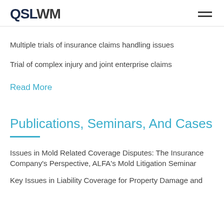QSLWM
Multiple trials of insurance claims handling issues
Trial of complex injury and joint enterprise claims
Read More
Publications, Seminars, And Cases
Issues in Mold Related Coverage Disputes: The Insurance Company's Perspective, ALFA's Mold Litigation Seminar
Key Issues in Liability Coverage for Property Damage and